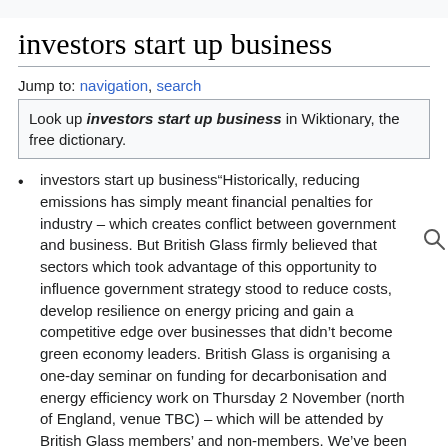investors start up business
Jump to: navigation, search
Look up investors start up business in Wiktionary, the free dictionary.
investors start up business“Historically, reducing emissions has simply meant financial penalties for industry – which creates conflict between government and business. But British Glass firmly believed that sectors which took advantage of this opportunity to influence government strategy stood to reduce costs, develop resilience on energy pricing and gain a competitive edge over businesses that didn’t become green economy leaders. British Glass is organising a one-day seminar on funding for decarbonisation and energy efficiency work on Thursday 2 November (north of England, venue TBC) – which will be attended by British Glass members’ and non-members. We’ve been determined to create a more productive conversation and shared vision for improving competitiveness through decarbonisation and energy efficiency and to